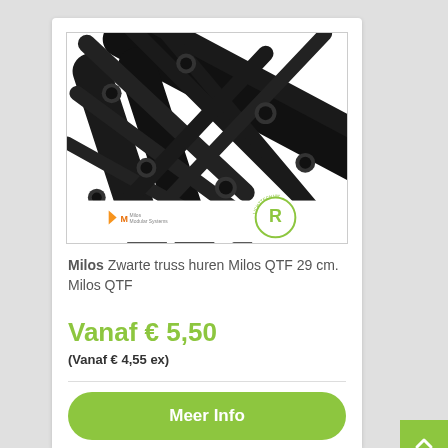[Figure (photo): Black Milos QTF truss structure close-up photograph showing black aluminium truss bars with connectors. Milos Modular Systems logo and R Lichttechnik logo visible at bottom of image.]
Milos Zwarte truss huren Milos QTF 29 cm. Milos QTF
Vanaf € 5,50
(Vanaf € 4,55 ex)
Meer Info